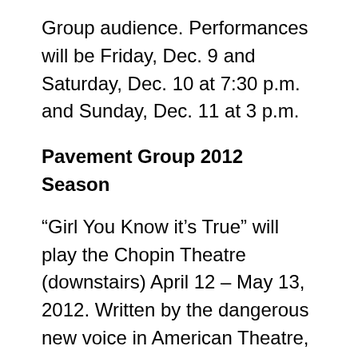Group audience. Performances will be Friday, Dec. 9 and Saturday, Dec. 10 at 7:30 p.m. and Sunday, Dec. 11 at 3 p.m.
Pavement Group 2012 Season
“Girl You Know it’s True” will play the Chopin Theatre (downstairs) April 12 – May 13, 2012. Written by the dangerous new voice in American Theatre, Bixby Elliott, and directed by Pavement Group Artistic Director David Perez, “Girl You Know it’s True” is a bold indictment of the institution of theatre and true intent behind the act of creation. When a forty-something, Caucasian male playwright fails to get his work produced he conjures up a radical new identity.